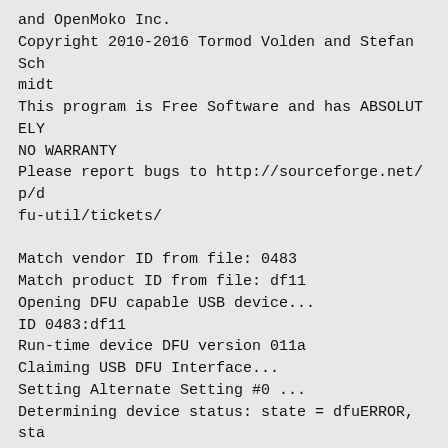and OpenMoko Inc.
Copyright 2010-2016 Tormod Volden and Stefan Schmidt
This program is Free Software and has ABSOLUTELY NO WARRANTY
Please report bugs to http://sourceforge.net/p/dfu-util/tickets/

Match vendor ID from file: 0483
Match product ID from file: df11
Opening DFU capable USB device...
ID 0483:df11
Run-time device DFU version 011a
Claiming USB DFU Interface...
Setting Alternate Setting #0 ...
Determining device status: state = dfuERROR, status = 10
dfuERROR, clearing status
Determining device status: state = dfuIDLE, status = 0
dfuIDLE, continuing
DFU mode device DFU version 011a
Device returned transfer size 2048